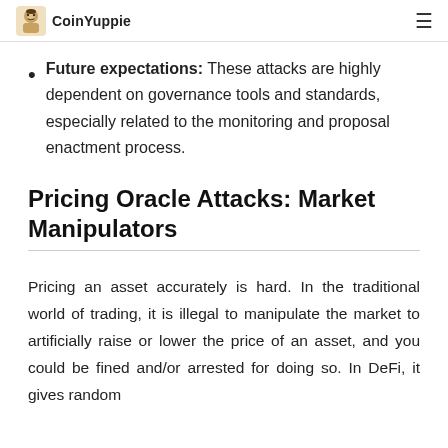CoinYuppie
Future expectations: These attacks are highly dependent on governance tools and standards, especially related to the monitoring and proposal enactment process.
Pricing Oracle Attacks: Market Manipulators
Pricing an asset accurately is hard. In the traditional world of trading, it is illegal to manipulate the market to artificially raise or lower the price of an asset, and you could be fined and/or arrested for doing so. In DeFi, it gives random